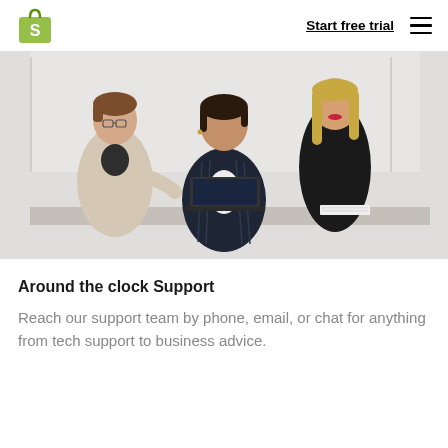Start free trial
[Figure (photo): Three women in an office setting — one standing on the left in a beige blazer gesturing, one seated in the center in a dark striped blazer looking up, and one standing on the right in a black outfit, with a laptop visible on the desk.]
Around the clock Support
Reach our support team by phone, email, or chat for anything from tech support to business advice.